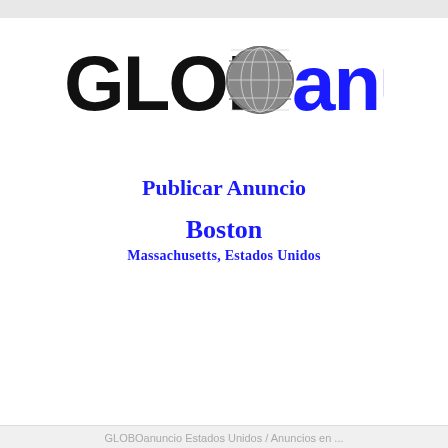[Figure (logo): GLOBOanuncio logo with globe icon between black GLOB and blue anuncio text]
Publicar Anuncio
Boston
Massachusetts, Estados Unidos
GLOBOanuncio Estados Unidos / Anuncios en ...